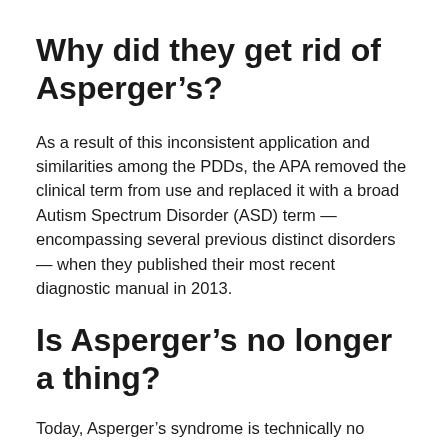Why did they get rid of Asperger’s?
As a result of this inconsistent application and similarities among the PDDs, the APA removed the clinical term from use and replaced it with a broad Autism Spectrum Disorder (ASD) term — encompassing several previous distinct disorders — when they published their most recent diagnostic manual in 2013.
Is Asperger’s no longer a thing?
Today, Asperger’s syndrome is technically no